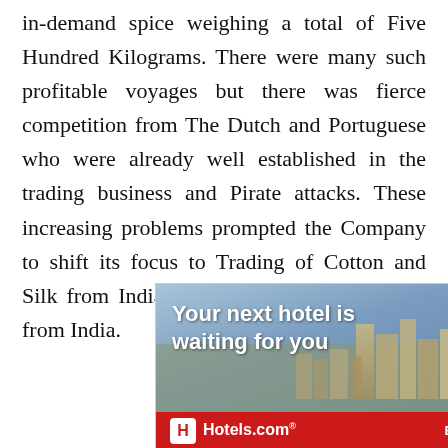in-demand spice weighing a total of Five Hundred Kilograms. There were many such profitable voyages but there was fierce competition from The Dutch and Portuguese who were already well established in the trading business and Pirate attacks. These increasing problems prompted the Company to shift its focus to Trading of Cotton and Silk from India instead of trading in Spices from India.
[Figure (other): Advertisement banner for Hotels.com showing a cityscape/resort photo with text 'Your next hotel is waiting for you' and a red footer with Hotels.com logo and 'BOOK NOW' button.]